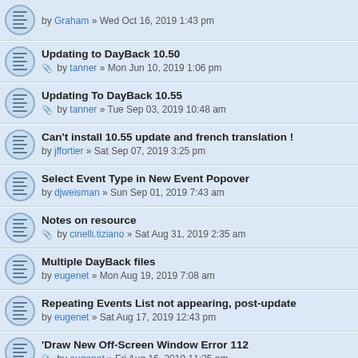by Graham » Wed Oct 16, 2019 1:43 pm
Updating to DayBack 10.50 | by tanner » Mon Jun 10, 2019 1:06 pm
Updating To DayBack 10.55 | by tanner » Tue Sep 03, 2019 10:48 am
Can't install 10.55 update and french translation ! | by jffortier » Sat Sep 07, 2019 3:25 pm
Select Event Type in New Event Popover | by djweisman » Sun Sep 01, 2019 7:43 am
Notes on resource | by cinelli.tiziano » Sat Aug 31, 2019 2:35 am
Multiple DayBack files | by eugenet » Mon Aug 19, 2019 7:08 am
Repeating Events List not appearing, post-update | by eugenet » Sat Aug 17, 2019 12:43 pm
'Draw New Off-Screen Window Error 112 | by eugenet » Fri Aug 16, 2019 11:35 am
How to remove 'View Day'? | by eugenet » Fri Aug 16, 2019 9:26 am
Can we modify the Resource/Schedule Vert row heigh